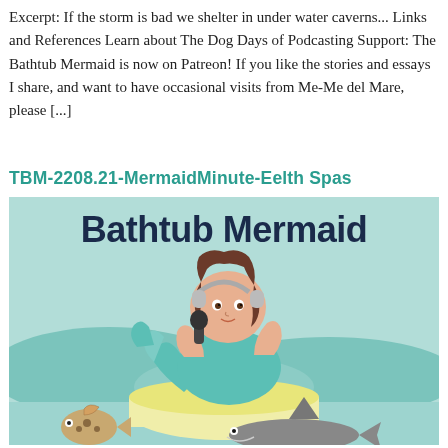Excerpt: If the storm is bad we shelter in under water caverns... Links and References Learn about The Dog Days of Podcasting Support: The Bathtub Mermaid is now on Patreon! If you like the stories and essays I share, and want to have occasional visits from Me-Me del Mare, please [...]
TBM-2208.21-MermaidMinute-Eelth Spas
[Figure (illustration): Illustration of a plus-size mermaid with brown hair wearing headphones and holding a microphone, sitting in a yellow bathtub. Text 'Bathtub Mermaid' appears at the top in dark navy bold font. Background is light teal/mint with blue hills. A fish and a shark are visible at the bottom of the image.]